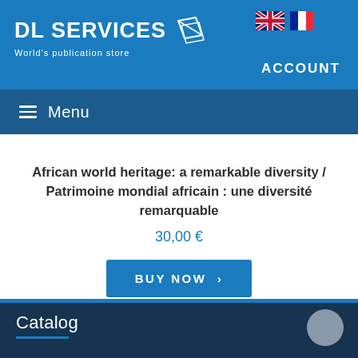DL SERVICES World's publication store — ACCOUNT
≡ Menu
African world heritage: a remarkable diversity / Patrimoine mondial africain : une diversité remarquable
30,00 €
BUY NOW ›
Catalog